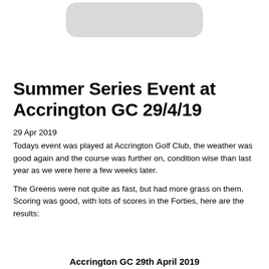[Figure (other): Rounded rectangle graphic at top of page, light grey fill with white background]
Summer Series Event at Accrington GC 29/4/19
29 Apr 2019
Todays event was played at Accrington Golf Club, the weather was good again and the course was further on, condition wise than last year as we were here a few weeks later.
The Greens were not quite as fast, but had more grass on them.  Scoring was good, with lots of scores in the Forties, here are the results:
Accrington GC 29th April 2019